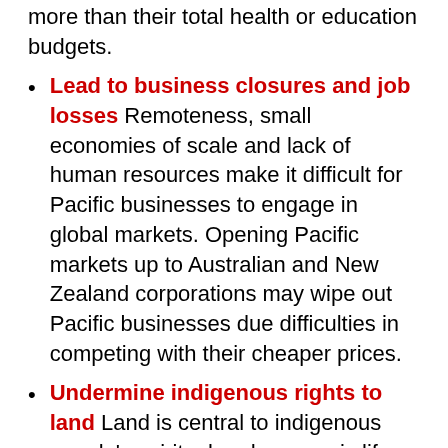more than their total health or education budgets.
Lead to business closures and job losses Remoteness, small economies of scale and lack of human resources make it difficult for Pacific businesses to engage in global markets. Opening Pacific markets up to Australian and New Zealand corporations may wipe out Pacific businesses due difficulties in competing with their cheaper prices.
Undermine indigenous rights to land Land is central to indigenous people's spiritual and economic life. The removal of restrictions on ownership of land by foreign